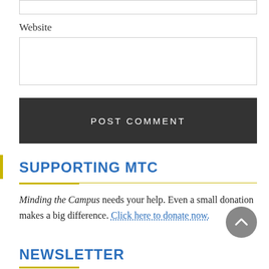Website
POST COMMENT
SUPPORTING MTC
Minding the Campus needs your help. Even a small donation makes a big difference. Click here to donate now.
NEWSLETTER